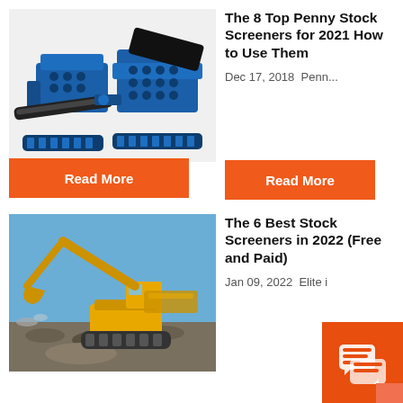[Figure (photo): Blue industrial rock crusher / screening machine equipment]
The 8 Top Penny Stock Screeners for 2021 How to Use Them
Dec 17, 2018  Penn...
Read More
[Figure (photo): Yellow excavator and rock crushing equipment on a gravel site with blue sky]
The 6 Best Stock Screeners in 2022 (Free and Paid)
Jan 09, 2022  Elite i
Read More